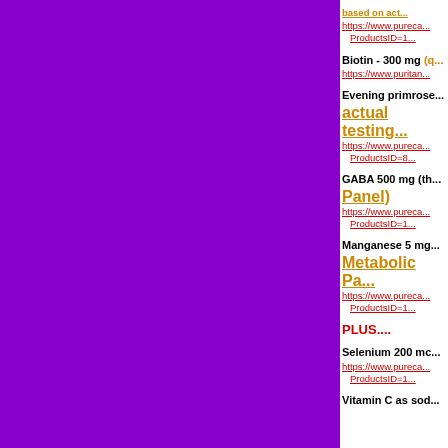based on actual testing link: https://www.pureca... ProductsID=1...
Biotin - 300 mg (quality noted) https://www.puritan...
Evening primrose - based on actual testing https://www.pureca... ProductsID=8...
GABA 500 mg (th... Panel) https://www.pureca... ProductsID=1...
Manganese 5 mg - Metabolic Pa... https://www.pureca... ProductsID=1...
PLUS....
Selenium 200 mc... https://www.pureca... ProductsID=1...
Vitamin C as sod...